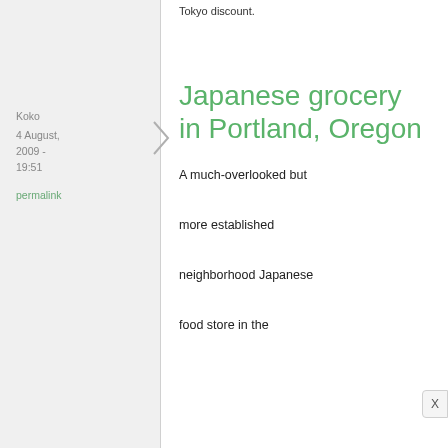Tokyo discount.
Koko
4 August, 2009 - 19:51
permalink
Japanese grocery in Portland, Oregon
A much-overlooked but more established neighborhood Japanese food store in the